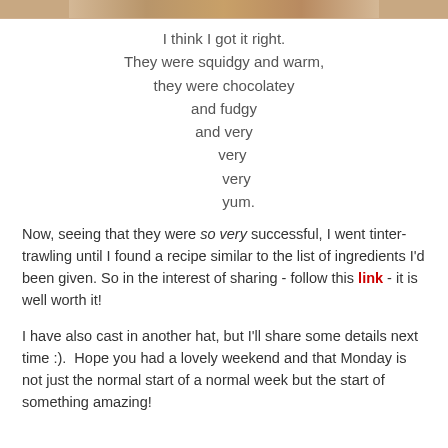[Figure (photo): Partial view of a food photo at the top of the page, showing what appears to be chocolate brownies or similar baked goods.]
I think I got it right.
They were squidgy and warm,
they were chocolatey
and fudgy
and very
very
very
yum.
Now, seeing that they were so very successful, I went tinter-trawling until I found a recipe similar to the list of ingredients I'd been given. So in the interest of sharing - follow this link - it is well worth it!
I have also cast in another hat, but I'll share some details next time :).  Hope you had a lovely weekend and that Monday is not just the normal start of a normal week but the start of something amazing!